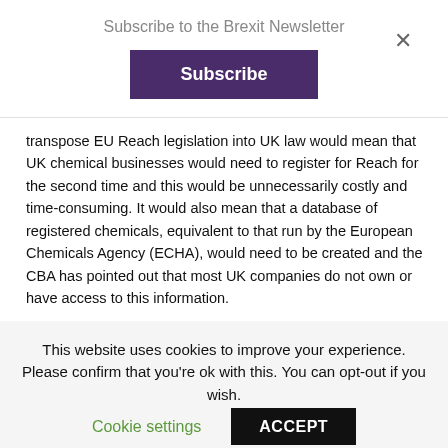Subscribe to the Brexit Newsletter
Subscribe
transpose EU Reach legislation into UK law would mean that UK chemical businesses would need to register for Reach for the second time and this would be unnecessarily costly and time-consuming. It would also mean that a database of registered chemicals, equivalent to that run by the European Chemicals Agency (ECHA), would need to be created and the CBA has pointed out that most UK companies do not own or have access to this information.

As regulatory compliance is vital to EU market access, the CBA argues that associate membership to the ECHA or a similar model
This website uses cookies to improve your experience. Please confirm that you're ok with this. You can opt-out if you wish.
Cookie settings
ACCEPT